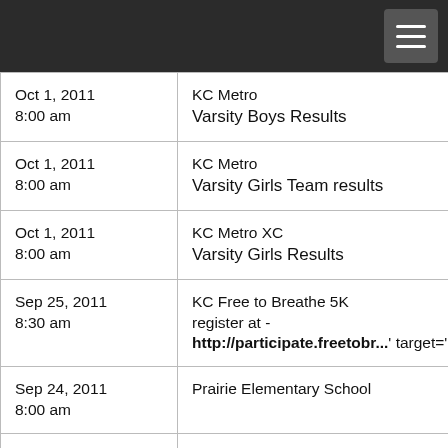| Oct 1, 2011 8:00 am | KC Metro Varsity Boys Results |
| Oct 1, 2011 8:00 am | KC Metro Varsity Girls Team results |
| Oct 1, 2011 8:00 am | KC Metro XC Varsity Girls Results |
| Sep 25, 2011 8:30 am | KC Free to Breathe 5K register at - http://participate.freetobr...' target=' |
| Sep 24, 2011 8:00 am | Prairie Elementary School |